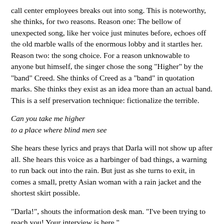call center employees breaks out into song. This is noteworthy, she thinks, for two reasons. Reason one: The bellow of unexpected song, like her voice just minutes before, echoes off the old marble walls of the enormous lobby and it startles her. Reason two: the song choice. For a reason unknowable to anyone but himself, the singer chose the song "Higher" by the "band" Creed. She thinks of Creed as a "band" in quotation marks. She thinks they exist as an idea more than an actual band. This is a self preservation technique: fictionalize the terrible.
Can you take me higher
to a place where blind men see
She hears these lyrics and prays that Darla will not show up after all. She hears this voice as a harbinger of bad things, a warning to run back out into the rain. But just as she turns to exit, in comes a small, pretty Asian woman with a rain jacket and the shortest skirt possible.
"Darla!", shouts the information desk man. "I've been trying to reach you! Your interview is here."